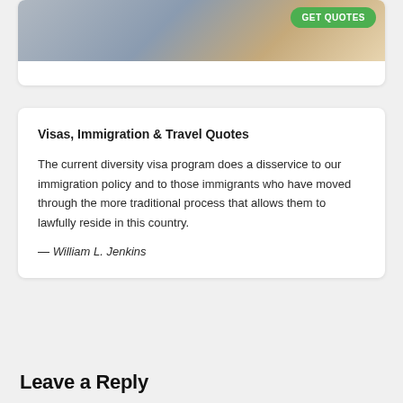[Figure (photo): Top portion of a card showing a person on a couch with a green 'GET QUOTES' button overlay in the top right corner.]
Visas, Immigration & Travel Quotes
The current diversity visa program does a disservice to our immigration policy and to those immigrants who have moved through the more traditional process that allows them to lawfully reside in this country.
— William L. Jenkins
Leave a Reply